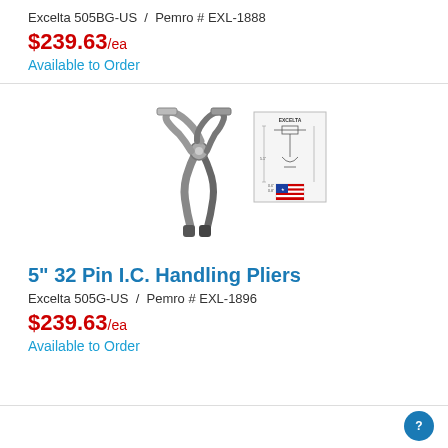Excelta 505BG-US  /  Pemro # EXL-1888
$239.63/ea
Available to Order
[Figure (photo): Photo of Excelta 5" 32 Pin I.C. Handling Pliers with technical diagram showing dimensions, EXCELTA branding and US flag label]
5" 32 Pin I.C. Handling Pliers
Excelta 505G-US  /  Pemro # EXL-1896
$239.63/ea
Available to Order